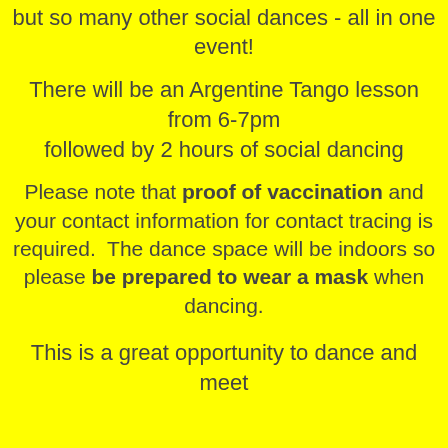but so many other social dances - all in one event!
There will be an Argentine Tango lesson from 6-7pm followed by 2 hours of social dancing
Please note that proof of vaccination and your contact information for contact tracing is required. The dance space will be indoors so please be prepared to wear a mask when dancing.
This is a great opportunity to dance and meet